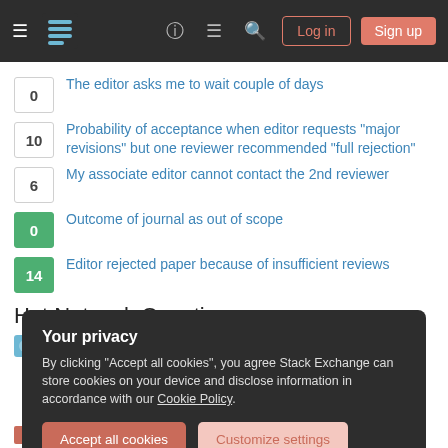[Figure (screenshot): Stack Exchange navigation bar with hamburger menu, logo, help icon, chat icon, search icon, Log in and Sign up buttons]
0  The editor asks me to wait couple of days
10  Probability of acceptance when editor requests "major revisions" but one reviewer recommended "full rejection"
6  My associate editor cannot contact the 2nd reviewer
0  Outcome of journal as out of scope
14  Editor rejected paper because of insufficient reviews
Hot Network Questions
What is a novelty element?
Your privacy
By clicking "Accept all cookies", you agree Stack Exchange can store cookies on your device and disclose information in accordance with our Cookie Policy.
Accept all cookies  Customize settings
Why the "soap" here is singular?